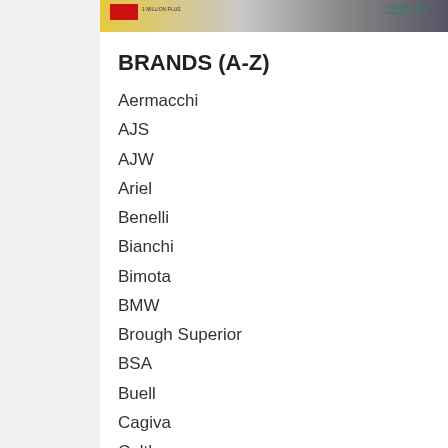[Figure (photo): Banner image showing a motorcycle advertisement with red box, text, and motorcycle imagery on a yellow/grey background]
BRANDS (A-Z)
Aermacchi
AJS
AJW
Ariel
Benelli
Bianchi
Bimota
BMW
Brough Superior
BSA
Buell
Cagiva
Calthorpe